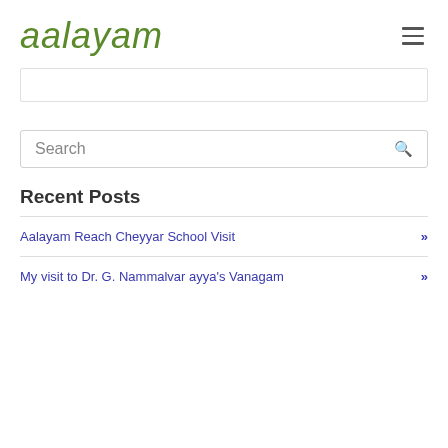aalayam
[Figure (other): Empty bordered content box, partially visible]
[Figure (other): Search bar with magnifying glass icon]
Recent Posts
Aalayam Reach Cheyyar School Visit
My visit to Dr. G. Nammalvar ayya's Vanagam